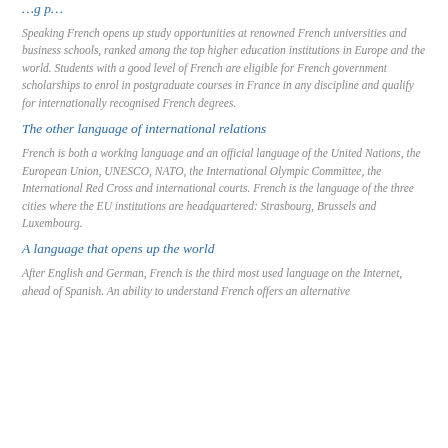…g p…
Speaking French opens up study opportunities at renowned French universities and business schools, ranked among the top higher education institutions in Europe and the world. Students with a good level of French are eligible for French government scholarships to enrol in postgraduate courses in France in any discipline and qualify for internationally recognised French degrees.
The other language of international relations
French is both a working language and an official language of the United Nations, the European Union, UNESCO, NATO, the International Olympic Committee, the International Red Cross and international courts. French is the language of the three cities where the EU institutions are headquartered: Strasbourg, Brussels and Luxembourg.
A language that opens up the world
After English and German, French is the third most used language on the Internet, ahead of Spanish. An ability to understand French offers an alternative